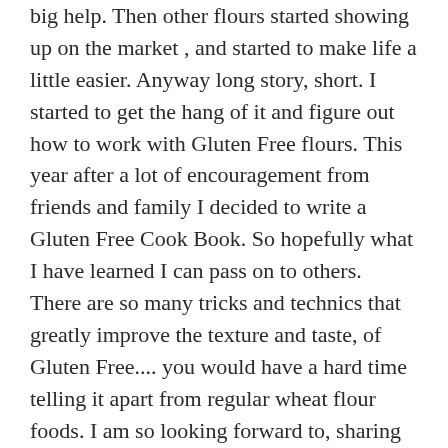big help. Then other flours started showing up on the market , and started to make life a little easier. Anyway long story, short. I started to get the hang of it and figure out how to work with Gluten Free flours. This year after a lot of encouragement from friends and family I decided to write a Gluten Free Cook Book. So hopefully what I have learned I can pass on to others. There are so many tricks and technics that greatly improve the texture and taste, of Gluten Free.... you would have a hard time telling it apart from regular wheat flour foods. I am so looking forward to, sharing some recipes and tips with everyone that has to eat Gluten Free, and hearing from you!
~~~~~~~~~~~~~~~~~~~~~~~~~~~~~~~~~~~~~~~~
Copyright Notice © Janet Monk ©jansglutenfree and Jans Gluten Free, 2014, 2015. Unauthorized use and/or duplication of this material (posts, recipes, and